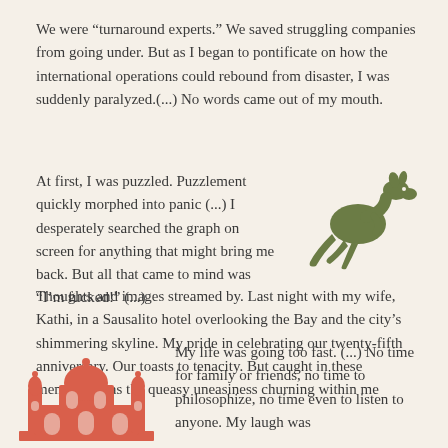We were “turnaround experts.” We saved struggling companies from going under. But as I began to pontificate on how the international operations could rebound from disaster, I was suddenly paralyzed.(...) No words came out of my mouth.
At first, I was puzzled. Puzzlement quickly morphed into panic (...) I desperately searched the graph on screen for anything that might bring me back. But all that came to mind was “I’m fucked!” (...)
[Figure (illustration): A green silhouette of a jumping kangaroo]
Thoughts and images streamed by. Last night with my wife, Kathi, in a Sausalito hotel overlooking the Bay and the city’s shimmering skyline. My pride in celebrating our twenty-fifth anniversary. Our toasts to tenacity. But caught in these memories was the queasy uneasiness churning within me lately.
[Figure (illustration): A red/coral silhouette illustration of the Taj Mahal]
My life was going too fast. (...) No time for family or friends, no time to philosophize, no time even to listen to anyone. My laugh was